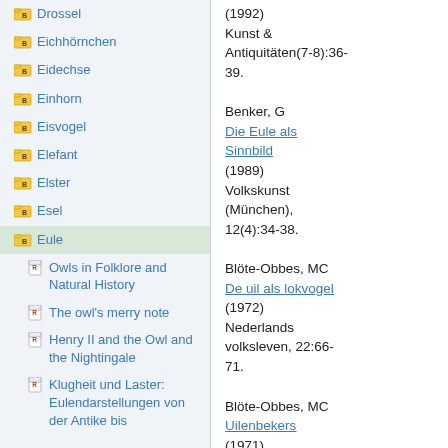Drossel
Eichhörnchen
Eidechse
Einhorn
Eisvogel
Elefant
Elster
Esel
Eule
Owls in Folklore and Natural History
The owl's merry note
Henry II and the Owl and the Nightingale
Klugheit und Laster: Eulendarstellungen von der Antike bis
(1992) Kunst & Antiquitäten(7-8):36-39.
Benker, G
Die Eule als Sinnbild
(1989) Volkskunst (München), 12(4):34-38.
Blöte-Obbes, MC
De uil als lokvogel
(1972) Nederlands volksleven, 22:66-71.
Blöte-Obbes, MC
Uilenbekers
(1971) Volkskunde, 72:9-16.
Blöte-Obbes, MC